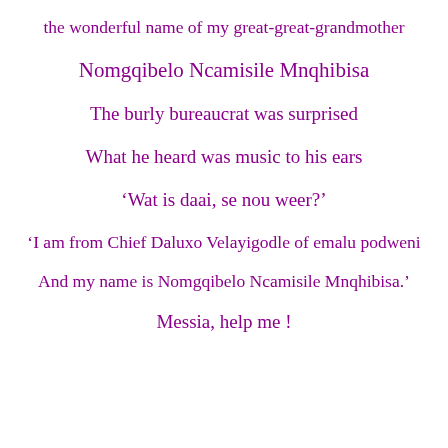the wonderful name of my great-great-grandmother
Nomgqibelo Ncamisile Mnqhibisa
The burly bureaucrat was surprised
What he heard was music to his ears
‘Wat is daai, se nou weer?’
‘I am from Chief Daluxo Velayigodle of emalu podweni
And my name is Nomgqibelo Ncamisile Mnqhibisa.’
Messia, help me !